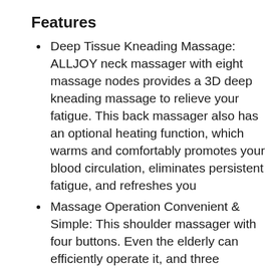Features
Deep Tissue Kneading Massage: ALLJOY neck massager with eight massage nodes provides a 3D deep kneading massage to relieve your fatigue. This back massager also has an optional heating function, which warms and comfortably promotes your blood circulation, eliminates persistent fatigue, and refreshes you
Massage Operation Convenient & Simple: This shoulder massager with four buttons. Even the elderly can efficiently operate it, and three massage speeds can be adjusted, which can be adjusted according to your needs to achieve the most